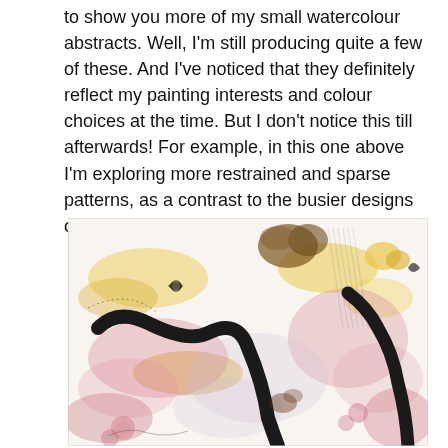to show you more of my small watercolour abstracts. Well, I'm still producing quite a few of these. And I've noticed that they definitely reflect my painting interests and colour choices at the time. But I don't notice this till afterwards! For example, in this one above I'm exploring more restrained and sparse patterns, as a contrast to the busier designs of the previous little abstracts seen here.
[Figure (photo): A close-up photograph of a watercolour abstract painting featuring black sinuous brushstrokes, pink and yellow washes, and delicate floral and pattern details on white paper.]